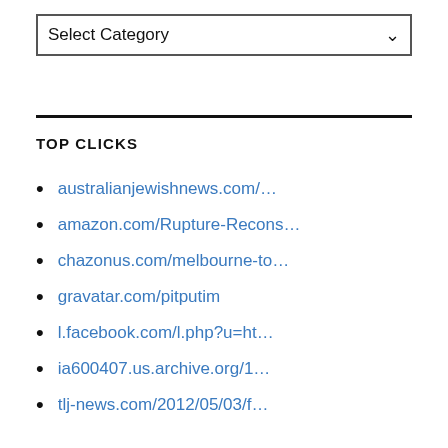Select Category
TOP CLICKS
australianjewishnews.com/…
amazon.com/Rupture-Recons…
chazonus.com/melbourne-to…
gravatar.com/pitputim
l.facebook.com/l.php?u=ht…
ia600407.us.archive.org/1…
tlj-news.com/2012/05/03/f…